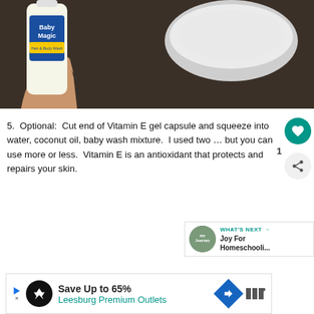[Figure (photo): A hand holding a Baby Magic Hair & Body Wash bottle next to a clear plastic bowl on a dark surface.]
5.  Optional:  Cut end of Vitamin E gel capsule and squeeze into water, coconut oil, baby wash mixture.  I used two … but you can use more or less.  Vitamin E is an antioxidant that protects and repairs your skin.
[Figure (other): What's Next panel showing Joy For Homeschooling link with thumbnail.]
[Figure (other): Advertisement bar: Save Up to 65% Leesburg Premium Outlets]